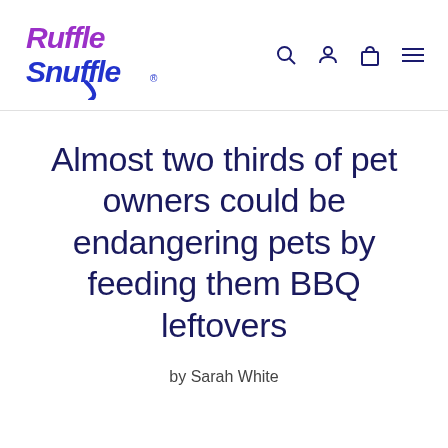[Figure (logo): Ruffle Snuffle logo with purple and blue stylized text, with navigation icons (search, user, cart, menu) to the right]
Almost two thirds of pet owners could be endangering pets by feeding them BBQ leftovers
by Sarah White